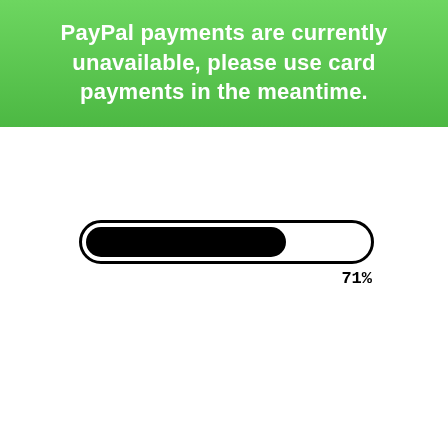PayPal payments are currently unavailable, please use card payments in the meantime.
[Figure (other): A progress bar showing 71% completion. The bar has a black rounded outer border, with the left 71% filled solid black and the remaining 29% white. A label '71%' appears below and to the right of the bar.]